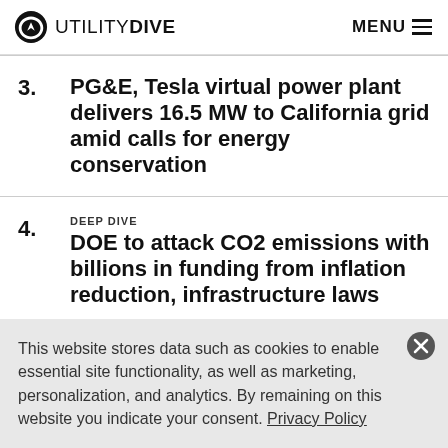UTILITY DIVE | MENU
3. PG&E, Tesla virtual power plant delivers 16.5 MW to California grid amid calls for energy conservation
4. DEEP DIVE
DOE to attack CO2 emissions with billions in funding from inflation reduction, infrastructure laws
This website stores data such as cookies to enable essential site functionality, as well as marketing, personalization, and analytics. By remaining on this website you indicate your consent. Privacy Policy